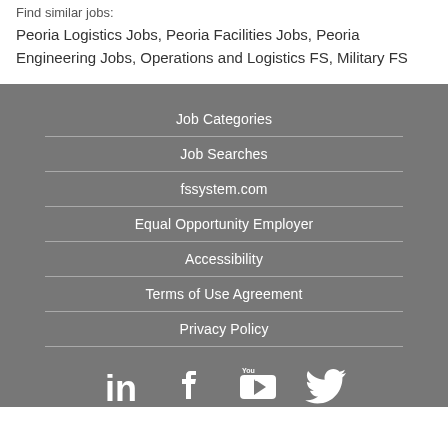Find similar jobs:
Peoria Logistics Jobs, Peoria Facilities Jobs, Peoria Engineering Jobs, Operations and Logistics FS, Military FS
Job Categories
Job Searches
fssystem.com
Equal Opportunity Employer
Accessibility
Terms of Use Agreement
Privacy Policy
[Figure (illustration): Social media icons: LinkedIn, Facebook, YouTube, Twitter]